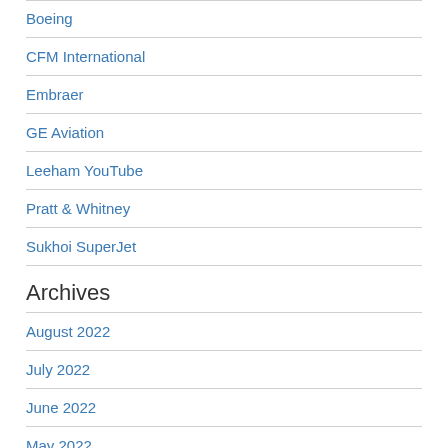Boeing
CFM International
Embraer
GE Aviation
Leeham YouTube
Pratt & Whitney
Sukhoi SuperJet
Archives
August 2022
July 2022
June 2022
May 2022